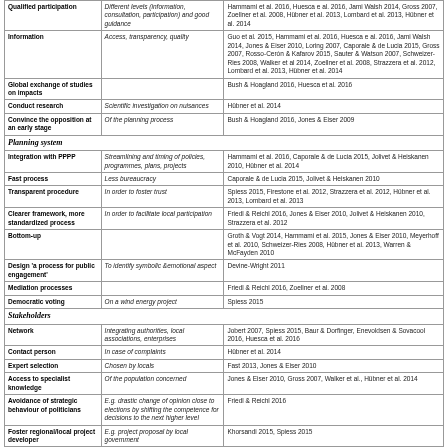| Factor | Description | References |
| --- | --- | --- |
| Qualified participation | Different levels (information, consultation, participation) and good guidance | Hammami et al. 2016, Huesca e al. 2016, Jami Walsh 2014, Gross 2007, Zoellner et al. 2008, Hübner et al. 2013, Lombard et al. 2013, Hübner et al. 2014 |
| Information | Access, transparency, quality | Guo et al. 2015, Hammami et al. 2016, Huesca e al. 2016, Jami Walsh 2014, Jones & Eiser 2010, Loring 2007, Caporale & de Lucia 2015, Gross 2007, Rosso-Cerón & Kafarov 2015, Sauter & Watson 2007, Schweizer-Ries 2008, Walker et al 2014, Zoellner et al. 2008, Strazzera et al. 2012, Lombard et al. 2013, Hübner et al. 2014 |
| Global exchange of studies on impacts |  | Bush & Hoagland 2016, Huesca et al. 2016 |
| Conduct research | Scientific investigation on nuisances | Hübner et al. 2014 |
| Convince the opposition at an early stage | Of the planning process | Bush & Hoagland 2016, Jones & Eiser 2009 |
| Planning system |  |  |
| Integration with PPPP | Streamlining and timing of policies, programmes, plans, projects | Hammami et al. 2016, Caporale & de Lucia 2015, Jolivet & Heiskanen 2010, Hübner et al. 2014 |
| Fast process | Less bureaucracy | Caporale & de Lucia 2015, Jolivet & Heiskanen 2010 |
| Transparent procedure | In order to foster trust | Spiess 2015, Firestone et al. 2012, Strazzera et al. 2012, Hübner et al. 2013, Lombard et al. 2013 |
| Clearer framework, more standardized process | In order to facilitate local participation | Friedl & Reichl 2016, Jones & Eiser 2010, Jolivet & Heiskanen 2010, Strazzera et al. 2012 |
| Bottom-up |  | Groth & Vogt 2014, Hammami et al. 2015, Jones & Eiser 2010, Meyerhoff et al. 2010, Schweizer-Ries 2008, Hübner et al. 2013, Warren & McFayden 2010 |
| Design 'a process for public engagement' | To identify symbolic &emotional aspect | Devine-Wright 2011 |
| Mediation processes |  | Friedl & Reichl 2016, Zoellner et al. 2008 |
| Democratic voting | On a wind energy project | Spiess 2015 |
| Stakeholders |  |  |
| Network | Integrating authorities, local associations, enterprises | Jobert 2007, Spiess 2015, Baur & Dorfinger, Enevoldsen & Sovacool 2016, Huesca et al. 2016 |
| Contact person | In case of complaints | Hübner et al. 2014 |
| Expert selection | Chosen by locals | Fast 2013, Jones & Eiser 2010 |
| Access to specialist knowledge | Of the population concerned | Jones & Eiser 2010, Gross 2007, Walker et al., Hübner et al. 2014 |
| Avoidance of strategic behaviour of politicians | E.g. drastic change of opinion close to elections by shifting the competence for decisions to the next higher level | Friedl & Reichl 2016 |
| Foster regional/local project developer | E.g. project proposal by local government | Khorsandi 2015, Spiess 2015 |